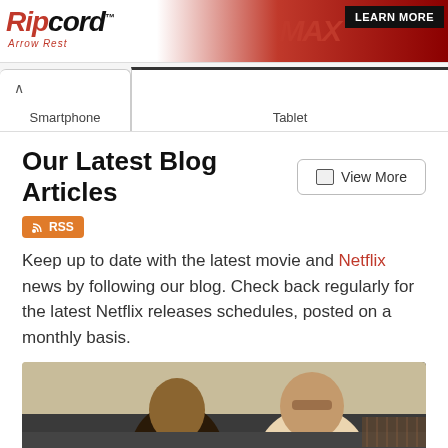[Figure (infographic): Ripcord Arrow Rest advertisement banner with logo, arrow rest product image, MAX branding in red, and LEARN MORE button]
[Figure (screenshot): Tab navigation showing Smartphone and Tablet tabs at bottom of UI section]
Our Latest Blog Articles
[Figure (other): RSS badge button in orange]
Keep up to date with the latest movie and Netflix news by following our blog. Check back regularly for the latest Netflix releases schedules, posted on a monthly basis.
[Figure (photo): Photo of two men sitting side by side, one with long dark hair on the left and one with short hair and sunglasses on the right]